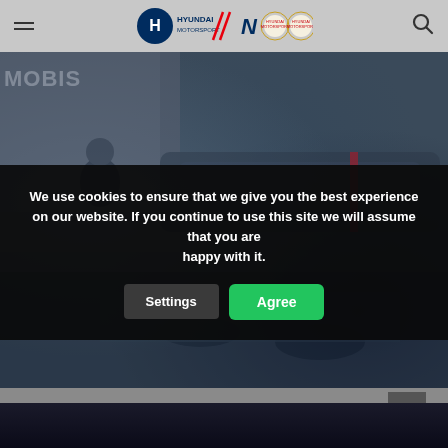[Figure (screenshot): Hyundai Motorsport website header navigation bar with hamburger menu, Hyundai Motorsport logo with N branding and FIA championship badges, and search icon on grey background]
[Figure (photo): Blurred dark motorsport/racing scene background photo showing cars and personnel in a pit or paddock area, with MOBIS branding visible]
We use cookies to ensure that we give you the best experience on our website. If you continue to use this site we will assume that you are happy with it.
Settings
Agree